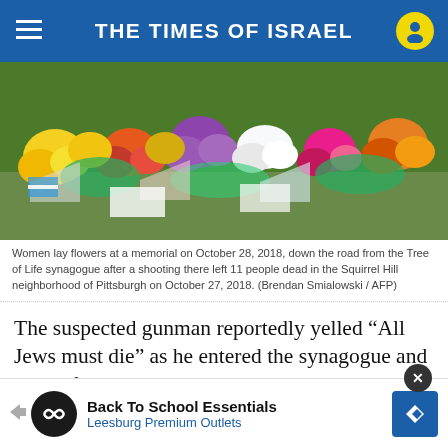THE TIMES OF ISRAEL
[Figure (photo): Flowers and bouquets laid at a memorial near the Tree of Life synagogue, Pittsburgh, October 28, 2018.]
Women lay flowers at a memorial on October 28, 2018, down the road from the Tree of Life synagogue after a shooting there left 11 people dead in the Squirrel Hill neighborhood of Pittsburgh on October 27, 2018. (Brendan Smialowski / AFP)
The suspected gunman reportedly yelled “All Jews must die” as he entered the synagogue and began firing. He engaged in a shootout with responding police officers and barricaded himself inside the building before surrendering.
[Figure (other): Advertisement: Back To School Essentials – Leesburg Premium Outlets]